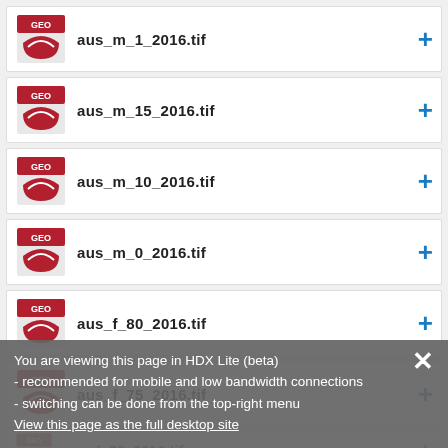aus_m_1_2016.tif
aus_m_15_2016.tif
aus_m_10_2016.tif
aus_m_0_2016.tif
aus_f_80_2016.tif
aus_f_75_2016.tif
aus_f_70_2016.tif
aus_f_65_2016.tif
aus_f_60_2016.tif
You are viewing this page in HDX Lite (beta)
- recommended for mobile and low bandwidth connections
- switching can be done from the top-right menu
View this page as the full desktop site